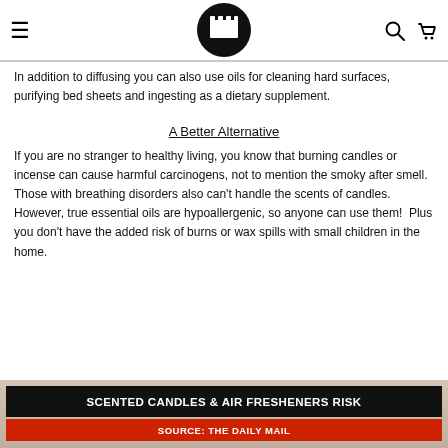Navigation bar with hamburger menu, castle logo, search and cart icons
will help keep your airways moist and healthy. If you or family suffer from poor lung and respiratory health or sensitive airways... If you add an essential oil to diffuser you can also stimulate my diffusers make adding vital scents to a room simple and can reduce inflammation and irritation.
In addition to diffusing you can also use oils for cleaning hard surfaces, purifying bed sheets and ingesting as a dietary supplement.
A Better Alternative
If you are no stranger to healthy living, you know that burning candles or incense can cause harmful carcinogens, not to mention the smoky after smell. Those with breathing disorders also can't handle the scents of candles.  However, true essential oils are hypoallergenic, so anyone can use them!  Plus you don't have the added risk of burns or wax spills with small children in the home.
[Figure (screenshot): News banner showing 'SCENTED CANDLES & AIR FRESHENERS RISK' in black bar and 'SOURCE: THE DAILY MAIL' in red bar below]